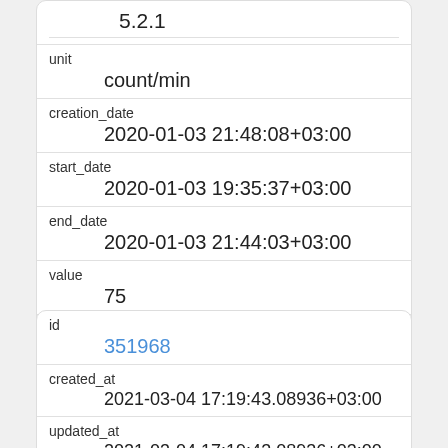| 5.2.1 |
| unit | count/min |
| creation_date | 2020-01-03 21:48:08+03:00 |
| start_date | 2020-01-03 19:35:37+03:00 |
| end_date | 2020-01-03 21:44:03+03:00 |
| value | 75 |
| device_id |  |
| id | 351968 |
| created_at | 2021-03-04 17:19:43.08936+03:00 |
| updated_at | 2021-03-04 17:19:43.08936+03:00 |
| deleted_at |  |